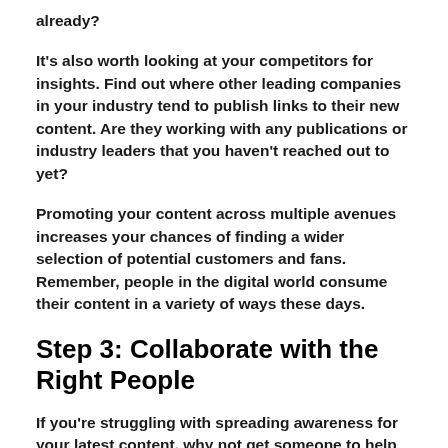already?
It's also worth looking at your competitors for insights. Find out where other leading companies in your industry tend to publish links to their new content. Are they working with any publications or industry leaders that you haven't reached out to yet?
Promoting your content across multiple avenues increases your chances of finding a wider selection of potential customers and fans. Remember, people in the digital world consume their content in a variety of ways these days.
Step 3: Collaborate with the Right People
If you're struggling with spreading awareness for your latest content, why not get someone to help you out? You